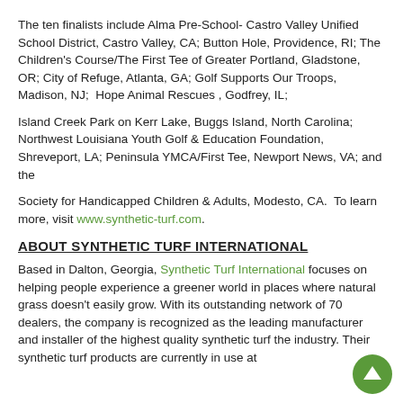The ten finalists include Alma Pre-School- Castro Valley Unified School District, Castro Valley, CA; Button Hole, Providence, RI; The Children's Course/The First Tee of Greater Portland, Gladstone, OR; City of Refuge, Atlanta, GA; Golf Supports Our Troops, Madison, NJ;  Hope Animal Rescues , Godfrey, IL;
Island Creek Park on Kerr Lake, Buggs Island, North Carolina; Northwest Louisiana Youth Golf & Education Foundation, Shreveport, LA; Peninsula YMCA/First Tee, Newport News, VA; and the
Society for Handicapped Children & Adults, Modesto, CA.  To learn more, visit www.synthetic-turf.com.
ABOUT SYNTHETIC TURF INTERNATIONAL
Based in Dalton, Georgia, Synthetic Turf International focuses on helping people experience a greener world in places where natural grass doesn't easily grow. With its outstanding network of 70 dealers, the company is recognized as the leading manufacturer and installer of the highest quality synthetic turf in the industry.  Their synthetic turf products are currently in use at